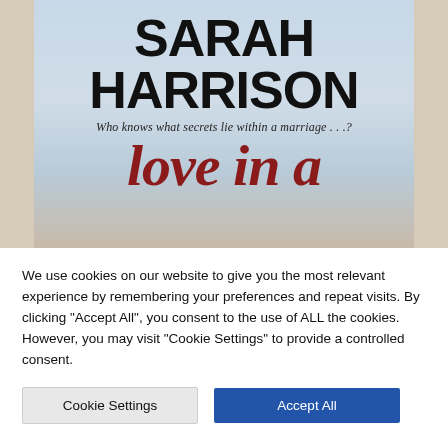[Figure (illustration): Book cover for 'Love in a...' by Sarah Harrison. Large bold black text 'SARAH HARRISON' at top, italic subtitle 'Who knows what secrets lie within a marriage...?', and large red italic text 'love in a' partially visible at bottom. Cloudy sky background with beige border.]
We use cookies on our website to give you the most relevant experience by remembering your preferences and repeat visits. By clicking "Accept All", you consent to the use of ALL the cookies. However, you may visit "Cookie Settings" to provide a controlled consent.
Cookie Settings
Accept All